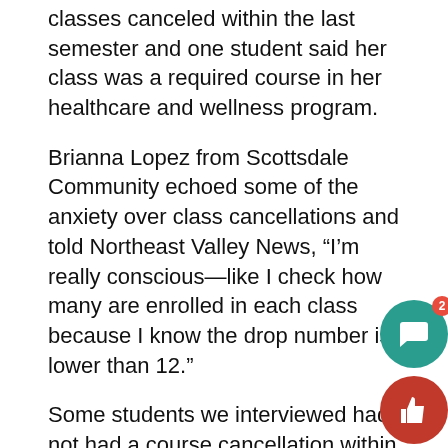classes canceled within the last semester and one student said her class was a required course in her healthcare and wellness program.
Brianna Lopez from Scottsdale Community echoed some of the anxiety over class cancellations and told Northeast Valley News, “I’m really conscious—like I check how many are enrolled in each class because I know the drop number is lower than 12.”
Some students we interviewed had not had a course cancellation within the past two semesters.
Admittedly, the interviews of forty students on the campus of Scottsdale Community College and additional interviews at two west valley Maricopa college’s is not scientific polling, but it does say something—and it’s not particularly good for students at the largest community college district in Arizona and one of the largest in the country